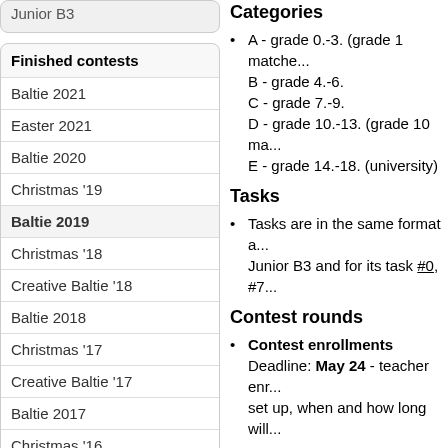Junior B3
Finished contests
Baltie 2021
Easter 2021
Baltie 2020
Christmas '19
Baltie 2019
Christmas '18
Creative Baltie '18
Baltie 2018
Christmas '17
Creative Baltie '17
Baltie 2017
Christmas '16
Creative Baltie '16
Baltie 2016
Categories
A - grade 0.-3. (grade 1 matche...
B - grade 4.-6.
C - grade 7.-9.
D - grade 10.-13. (grade 10 ma...
E - grade 14.-18. (university)
Tasks
Tasks are in the same format a... Junior B3 and for its task #0, #7...
Contest rounds
Contest enrollments
Deadline: May 24 - teacher enr... set up, when and how long will...
Home round
Date: May 7, 13:00 - May 24, 16...
Contest time: there are no limit,...
Minimum number of members o...
The results: are not public, only...
School round
Date: March 12, 11:00 - May 23...
Contest time: 90 minutes.